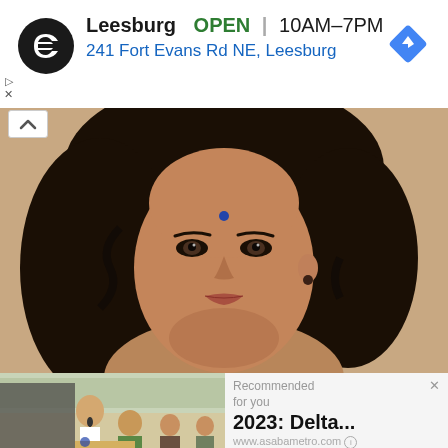[Figure (screenshot): Advertisement banner for a store in Leesburg with logo, open status, hours, and address]
Leesburg  OPEN  10AM–7PM
241 Fort Evans Rd NE, Leesburg
[Figure (photo): Close-up portrait of a young South Asian woman with dark wavy hair and a blue bindi]
[Figure (photo): Group of men at an event, one speaking into a microphone]
Recommended
for you
2023: Delta...
www.asabametro.com